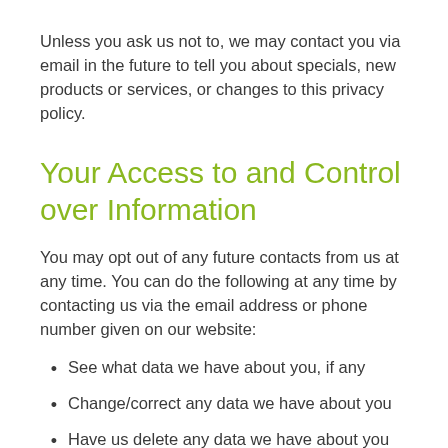Unless you ask us not to, we may contact you via email in the future to tell you about specials, new products or services, or changes to this privacy policy.
Your Access to and Control over Information
You may opt out of any future contacts from us at any time. You can do the following at any time by contacting us via the email address or phone number given on our website:
See what data we have about you, if any
Change/correct any data we have about you
Have us delete any data we have about you
Express any concern you have about our use of